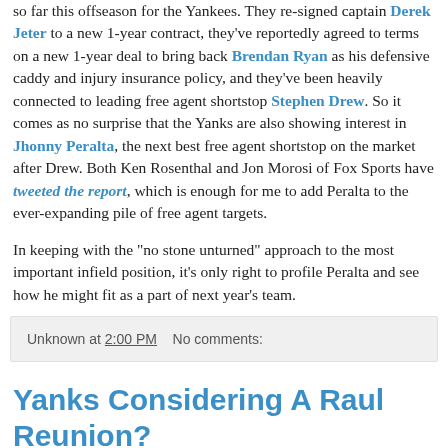so far this offseason for the Yankees.  They re-signed captain Derek Jeter to a new 1-year contract, they've reportedly agreed to terms on a new 1-year deal to bring back Brendan Ryan as his defensive caddy and injury insurance policy, and they've been heavily connected to leading free agent shortstop Stephen Drew.  So it comes as no surprise that the Yanks are also showing interest in Jhonny Peralta, the next best free agent shortstop on the market after Drew.  Both Ken Rosenthal and Jon Morosi of Fox Sports have tweeted the report, which is enough for me to add Peralta to the ever-expanding pile of free agent targets.
In keeping with the "no stone unturned" approach to the most important infield position, it's only right to profile Peralta and see how he might fit as a part of next year's team.
Unknown at 2:00 PM   No comments:
Yanks Considering A Raul Reunion?